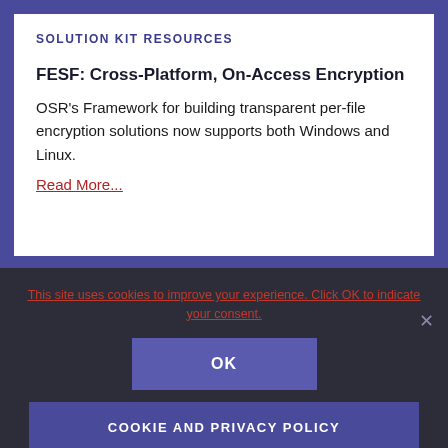SOLUTION KIT RESOURCES
FESF: Cross-Platform, On-Access Encryption
OSR's Framework for building transparent per-file encryption solutions now supports both Windows and Linux.
Read More...
This site uses cookies to improve your experience. Click OK to indicate your consent.
OK
COOKIE AND PRIVACY POLICY